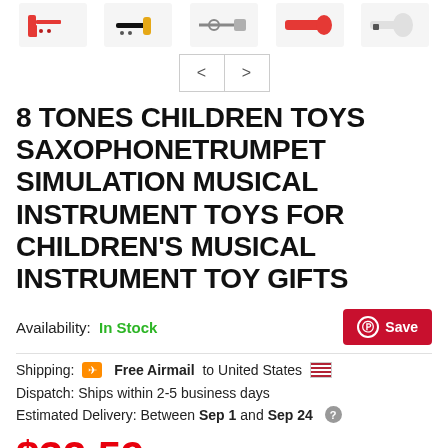[Figure (photo): Row of toy instrument product thumbnail images (saxophone, trumpet, etc.) at top of e-commerce product page]
[Figure (screenshot): Navigation left/right arrow buttons for image carousel]
8 TONES CHILDREN TOYS SAXOPHONETRUMPET SIMULATION MUSICAL INSTRUMENT TOYS FOR CHILDREN'S MUSICAL INSTRUMENT TOY GIFTS
Availability: In Stock
Shipping: ✈ Free Airmail to United States 🇺🇸
Dispatch: Ships within 2-5 business days
Estimated Delivery: Between Sep 1 and Sep 24
$32.59